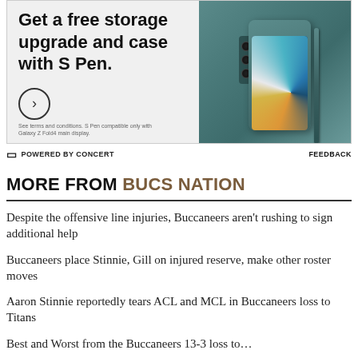[Figure (photo): Samsung Galaxy Z Fold4 advertisement. Text reads 'Get a free storage upgrade and case with S Pen.' with a circular arrow button. Fine print: 'See terms and conditions. S Pen compatible only with Galaxy Z Fold4 main display.' Image shows a teal/grey Samsung Galaxy Z Fold4 phone with S Pen stylus.]
POWERED BY CONCERT    FEEDBACK
MORE FROM BUCS NATION
Despite the offensive line injuries, Buccaneers aren't rushing to sign additional help
Buccaneers place Stinnie, Gill on injured reserve, make other roster moves
Aaron Stinnie reportedly tears ACL and MCL in Buccaneers loss to Titans
Best and Worst from the Buccaneers 13-3 loss to…